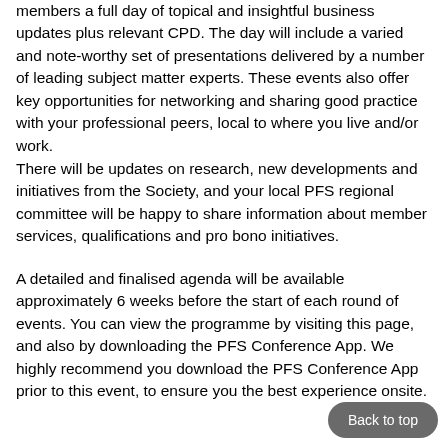members a full day of topical and insightful business updates plus relevant CPD. The day will include a varied and note-worthy set of presentations delivered by a number of leading subject matter experts. These events also offer key opportunities for networking and sharing good practice with your professional peers, local to where you live and/or work.
There will be updates on research, new developments and initiatives from the Society, and your local PFS regional committee will be happy to share information about member services, qualifications and pro bono initiatives.
A detailed and finalised agenda will be available approximately 6 weeks before the start of each round of events. You can view the programme by visiting this page, and also by downloading the PFS Conference App. We highly recommend you download the PFS Conference App prior to this event, to ensure you the best experience onsite.